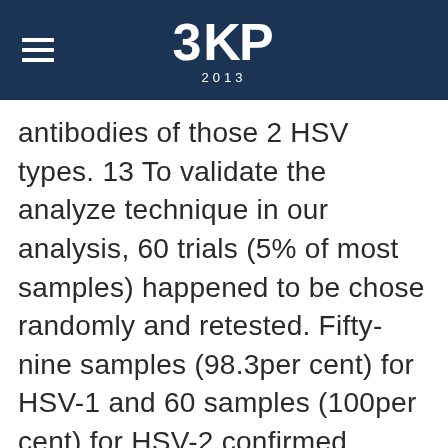3KP 2013
antibodies of those 2 HSV types. 13 To validate the analyze technique in our analysis, 60 trials (5% of most samples) happened to be chose randomly and retested. Fifty-nine samples (98.3per cent) for HSV-1 and 60 samples (100per cent) for HSV-2 confirmed concordance utilizing the listings collected during the earliest investigation. The discordant consequences am left out from your closing analyses. All examples happened to be